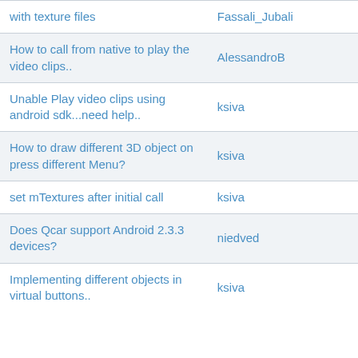| Topic | Author |
| --- | --- |
| with texture files | Fassali_Jubail |
| How to call from native to play the video clips.. | AlessandroB |
| Unable Play video clips using android sdk...need help.. | ksiva |
| How to draw different 3D object on press different Menu? | ksiva |
| set mTextures after initial call | ksiva |
| Does Qcar support Android 2.3.3 devices? | niedved |
| Implementing different objects in virtual buttons.. | ksiva |